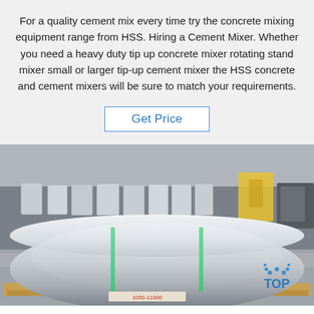For a quality cement mix every time try the concrete mixing equipment range from HSS. Hiring a Cement Mixer. Whether you need a heavy duty tip up concrete mixer rotating stand mixer small or larger tip-up cement mixer the HSS concrete and cement mixers will be sure to match your requirements.
Get Price
[Figure (photo): Large shiny metal coil/roll on a wooden pallet in an industrial factory warehouse, with multiple smaller coils visible in the background. A 'TOP' watermark logo appears in the bottom right corner.]